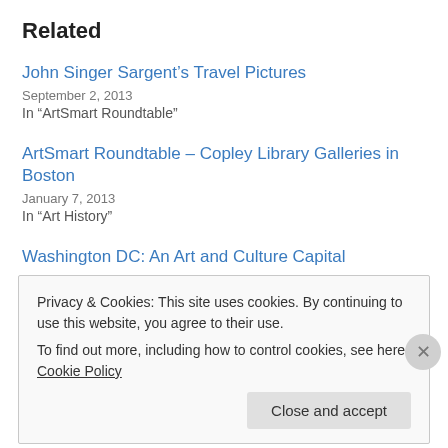Related
John Singer Sargent’s Travel Pictures
September 2, 2013
In “ArtSmart Roundtable”
ArtSmart Roundtable – Copley Library Galleries in Boston
January 7, 2013
In “Art History”
Washington DC: An Art and Culture Capital
March 2, 2015
In “Washington DC”
Privacy & Cookies: This site uses cookies. By continuing to use this website, you agree to their use.
To find out more, including how to control cookies, see here: Cookie Policy
Close and accept